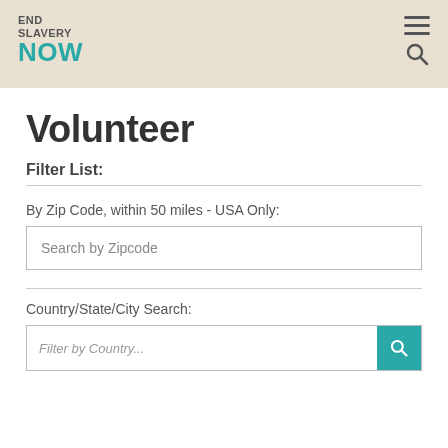END SLAVERY NOW
Volunteer
Filter List:
By Zip Code, within 50 miles - USA Only:
Search by Zipcode
Country/State/City Search:
Filter by Country...